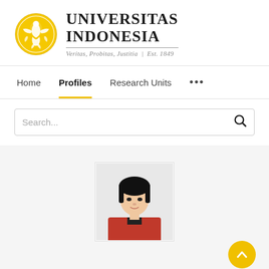[Figure (logo): Universitas Indonesia logo with golden emblem and text: UNIVERSITAS INDONESIA, Veritas, Probitas, Justitia | Est. 1849]
Home  Profiles  Research Units  ...
Search...
[Figure (photo): Profile photo of a woman with short black hair wearing a red top]
View Scopus Profile